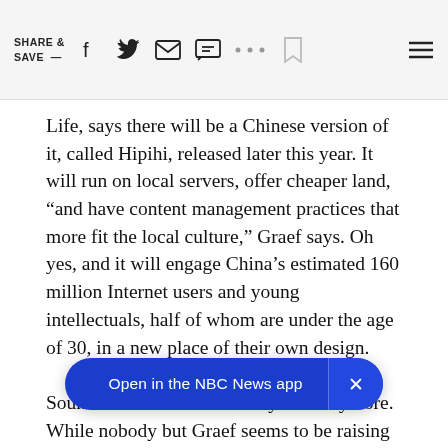SHARE & SAVE — [social icons: facebook, twitter, email, message, more, bookmark, menu]
Life, says there will be a Chinese version of it, called Hipihi, released later this year. It will run on local servers, offer cheaper land, “and have content management practices that more fit the local culture,” Graef says. Oh yes, and it will engage China’s estimated 160 million Internet users and young intellectuals, half of whom are under the age of 30, in a new place of their own design.
Sound far-fetched? Not really. Not anymore. While nobody but Graef seems to be raising very much real money yet in “SL,” interest by charities in the potential of this so-called metaverse to boost membership and funding is spiking. In April, market research firm Gartner p[...]ercent of active In[...]nce in a virtual world, with Second Life currently one of the
[Figure (screenshot): NBC News app banner overlay at bottom of screen with blue rounded pill button reading 'Open in the NBC News app' and an X close button]